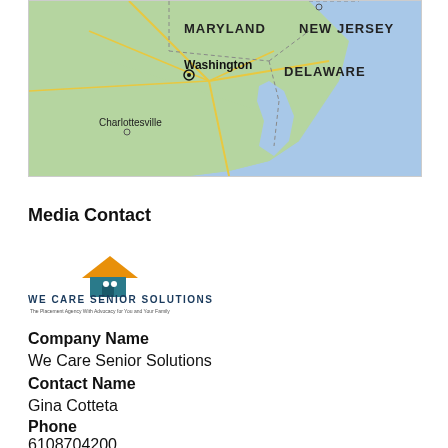[Figure (map): Map showing the Mid-Atlantic region of the United States including Maryland, New Jersey, Delaware, Washington D.C., and Charlottesville.]
Media Contact
[Figure (logo): We Care Senior Solutions logo with orange roof icon and teal house silhouette, company name in dark blue text, tagline below.]
Company Name
We Care Senior Solutions
Contact Name
Gina Cotteta
Phone
6108704200